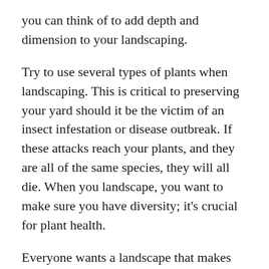you can think of to add depth and dimension to your landscaping.
Try to use several types of plants when landscaping. This is critical to preserving your yard should it be the victim of an insect infestation or disease outbreak. If these attacks reach your plants, and they are all of the same species, they will all die. When you landscape, you want to make sure you have diversity; it's crucial for plant health.
Everyone wants a landscape that makes neighbors jealous, but not many people know how to go about it. With the right information and tools, you can do a lot of landscaping on